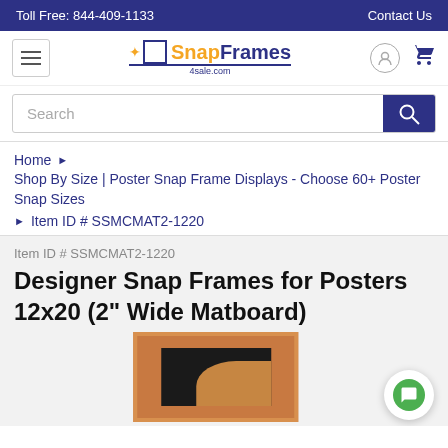Toll Free: 844-409-1133    Contact Us
[Figure (logo): SnapFrames4sale.com logo with hamburger menu, user icon, and cart icon]
Search
Home › Shop By Size | Poster Snap Frame Displays - Choose 60+ Poster Snap Sizes › Item ID # SSMCMAT2-1220
Item ID # SSMCMAT2-1220
Designer Snap Frames for Posters 12x20 (2" Wide Matboard)
[Figure (photo): Product photo of a Designer Snap Frame with orange/brown matboard border and dark center, partially visible]